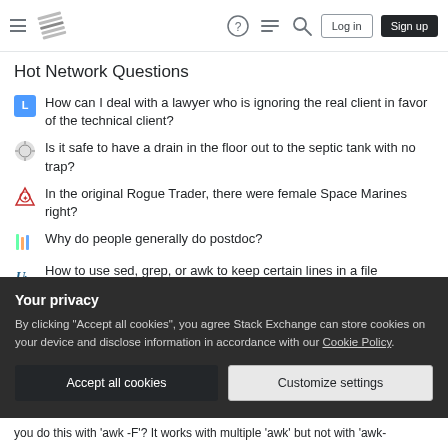Stack Exchange navigation header with hamburger menu, logo, help, chat, search, Log in, Sign up buttons
Hot Network Questions
How can I deal with a lawyer who is ignoring the real client in favor of the technical client?
Is it safe to have a drain in the floor out to the septic tank with no trap?
In the original Rogue Trader, there were female Space Marines right?
Why do people generally do postdoc?
How to use sed, grep, or awk to keep certain lines in a file depending on line numbers in another file
Would a Russian visa ban be compliant with the Universal Declaration of Human Rights?
Your privacy
By clicking "Accept all cookies", you agree Stack Exchange can store cookies on your device and disclose information in accordance with our Cookie Policy.
Accept all cookies   Customize settings
you do this with 'awk -F'? It works with multiple 'awk' but not with 'awk-